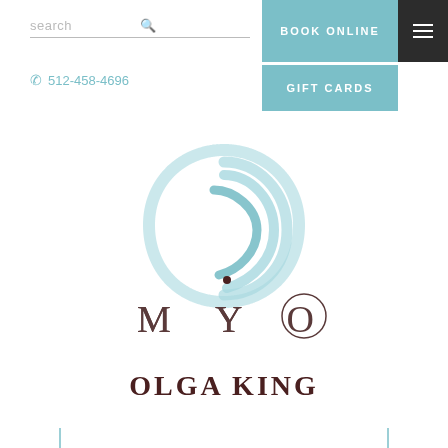search
BOOK ONLINE
512-458-4696
GIFT CARDS
[Figure (logo): MYO spa logo: abstract swirling blue leaf/circle above stylized text 'MYO']
OLGA KING